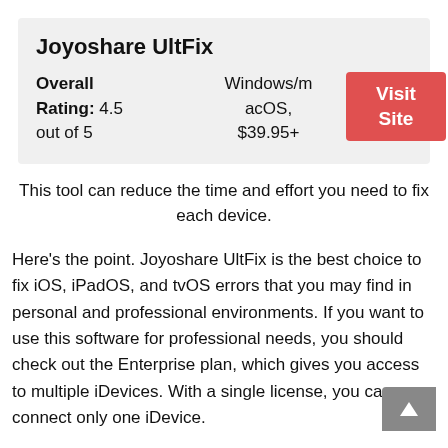Joyoshare UltFix
| Overall Rating: 4.5 out of 5 | Windows/macOS, $39.95+ | Visit Site |
This tool can reduce the time and effort you need to fix each device.
Here's the point. Joyoshare UltFix is the best choice to fix iOS, iPadOS, and tvOS errors that you may find in personal and professional environments. If you want to use this software for professional needs, you should check out the Enterprise plan, which gives you access to multiple iDevices. With a single license, you can connect only one iDevice.